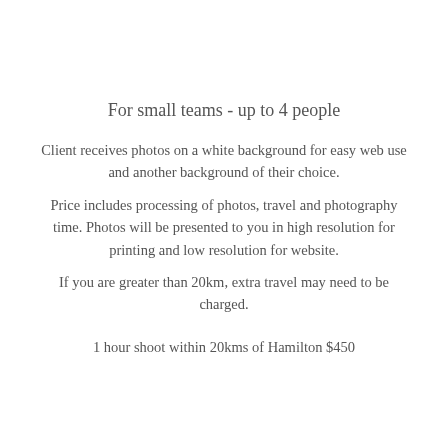For small teams - up to 4 people
Client receives photos on a white background for easy web use and another background of their choice.
Price includes processing of photos, travel and photography time. Photos will be presented to you in high resolution for printing and low resolution for website.
If you are greater than 20km, extra travel may need to be charged.
1 hour shoot within 20kms of Hamilton $450